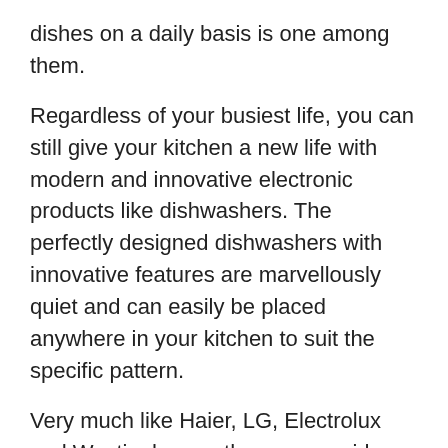dishes on a daily basis is one among them.
Regardless of your busiest life, you can still give your kitchen a new life with modern and innovative electronic products like dishwashers. The perfectly designed dishwashers with innovative features are marvellously quiet and can easily be placed anywhere in your kitchen to suit the specific pattern.
Very much like Haier, LG, Electrolux and Westinghouse, there are a wide range of Fisher Paykel Dishwashers in Australia that complement your kitchen appliances as well as blend seamlessly into your kitchen cabinetry. The company has a handsome range of dishwashers that are a showcase of insight-led design.
They are curiously efficient, dazzlingly quiet and configurable, enabling you to fir your needs. They are also a marvellous addition to your kitchen.